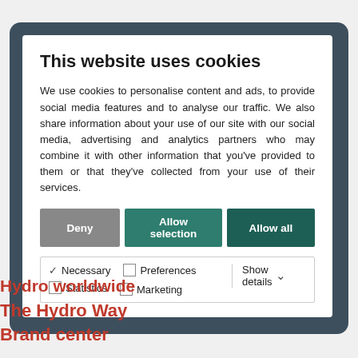This website uses cookies
We use cookies to personalise content and ads, to provide social media features and to analyse our traffic. We also share information about your use of our site with our social media, advertising and analytics partners who may combine it with other information that you've provided to them or that they've collected from your use of their services.
Deny | Allow selection | Allow all
Necessary  Preferences  Statistics  Marketing  Show details
Hydro worldwide
The Hydro Way
Brand center